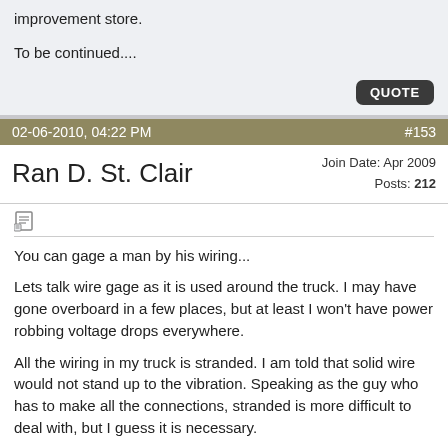improvement store.
To be continued....
02-06-2010, 04:22 PM   #153
Ran D. St. Clair
Join Date: Apr 2009
Posts: 212
You can gage a man by his wiring...
Lets talk wire gage as it is used around the truck. I may have gone overboard in a few places, but at least I won't have power robbing voltage drops everywhere.
All the wiring in my truck is stranded. I am told that solid wire would not stand up to the vibration. Speaking as the guy who has to make all the connections, stranded is more difficult to deal with, but I guess it is necessary.